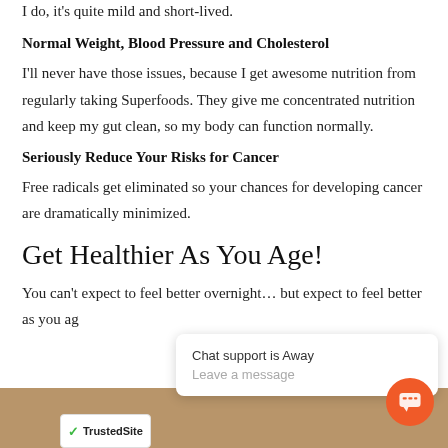I do, it's quite mild and short-lived.
Normal Weight, Blood Pressure and Cholesterol
I'll never have those issues, because I get awesome nutrition from regularly taking Superfoods. They give me concentrated nutrition and keep my gut clean, so my body can function normally.
Seriously Reduce Your Risks for Cancer
Free radicals get eliminated so your chances for developing cancer are dramatically minimized.
Get Healthier As You Age!
You can't expect to feel better overnight... but expect to feel better as you ag…
[Figure (other): Chat support popup overlay showing 'Chat support is Away' and 'Leave a message', with an orange chat button icon and TrustedSite badge at bottom left]